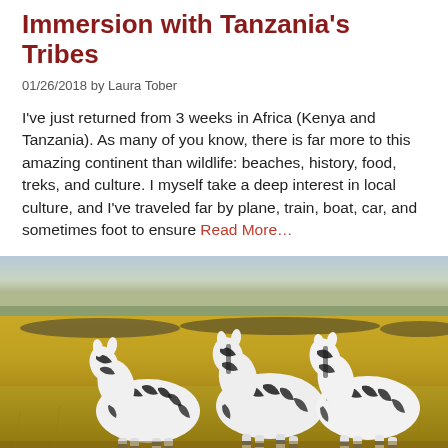Immersion with Tanzania's Tribes
01/26/2018 by Laura Tober
I've just returned from 3 weeks in Africa (Kenya and Tanzania). As many of you know, there is far more to this amazing continent than wildlife: beaches, history, food, treks, and culture. I myself take a deep interest in local culture, and I've traveled far by plane, train, boat, car, and sometimes foot to ensure Read More…
[Figure (photo): Photograph of three zebras standing in golden savanna grassland with a large herd of wildebeest in the background and distant flat landscape under a hazy sky.]